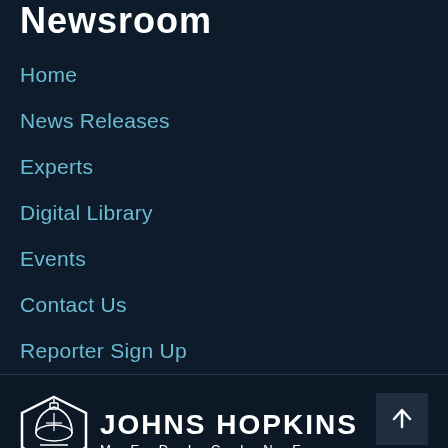Newsroom
Home
News Releases
Experts
Digital Library
Events
Contact Us
Reporter Sign Up
[Figure (logo): Johns Hopkins Medicine logo — shield/dome icon with JOHNS HOPKINS MEDICINE text]
Language Assistance Available: